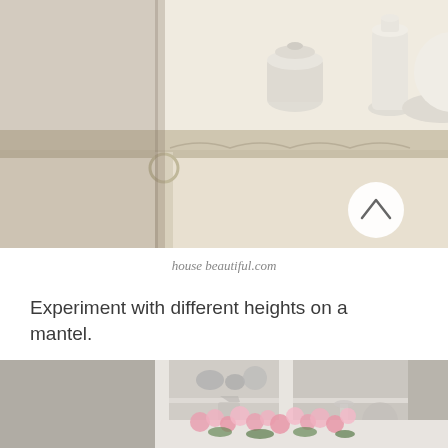[Figure (photo): A decorative shelf with white vases and ceramic pieces arranged at different heights on an ornate cream-colored console table. A circular arrow button is visible in the lower right of the image.]
house beautiful.com
Experiment with different heights on a mantel.
[Figure (photo): Interior shot of a white display cabinet with glass doors, showing silver decorative items on shelves. In the foreground is an arrangement of pink and white daisy-like flowers in a white container.]